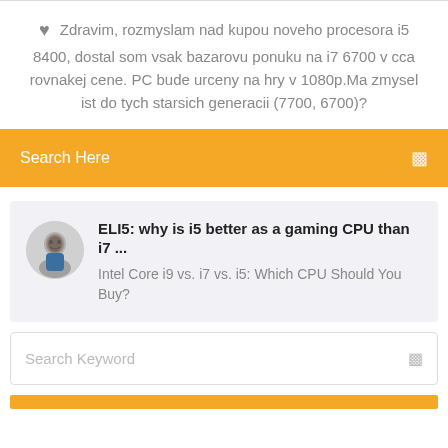Zdravim, rozmyslam nad kupou noveho procesora i5 8400, dostal som vsak bazarovu ponuku na i7 6700 v cca rovnakej cene. PC bude urceny na hry v 1080p.Ma zmysel ist do tych starsich generacii (7700, 6700)?
Search Here
ELI5: why is i5 better as a gaming CPU than i7 ...
Intel Core i9 vs. i7 vs. i5: Which CPU Should You Buy?
Search Keyword